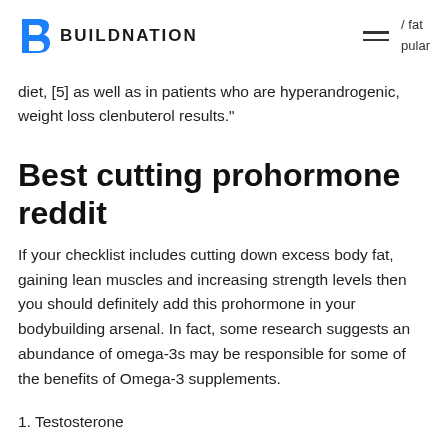BUILDNATION / fat pular
diet, [5] as well as in patients who are hyperandrogenic, weight loss clenbuterol results."
Best cutting prohormone reddit
If your checklist includes cutting down excess body fat, gaining lean muscles and increasing strength levels then you should definitely add this prohormone in your bodybuilding arsenal. In fact, some research suggests an abundance of omega-3s may be responsible for some of the benefits of Omega-3 supplements.
1. Testosterone